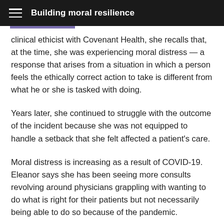Building moral resilience
clinical ethicist with Covenant Health, she recalls that, at the time, she was experiencing moral distress — a response that arises from a situation in which a person feels the ethically correct action to take is different from what he or she is tasked with doing.
Years later, she continued to struggle with the outcome of the incident because she was not equipped to handle a setback that she felt affected a patient's care.
Moral distress is increasing as a result of COVID-19. Eleanor says she has been seeing more consults revolving around physicians grappling with wanting to do what is right for their patients but not necessarily being able to do so because of the pandemic.